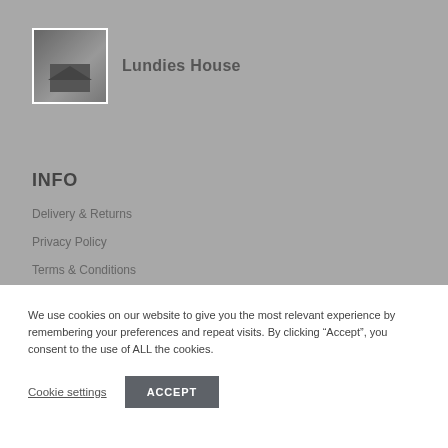[Figure (photo): Small thumbnail image of Lundies House, showing a building interior/exterior scene in grayscale tones]
Lundies House
INFO
Delivery & Returns
Privacy Policy
Terms & Conditions
We use cookies on our website to give you the most relevant experience by remembering your preferences and repeat visits. By clicking “Accept”, you consent to the use of ALL the cookies.
Cookie settings
ACCEPT